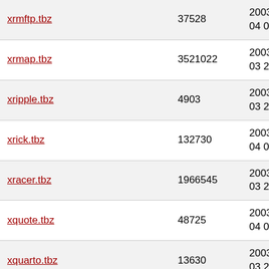| xrmftp.tbz | 37528 | 2003-Jan-04 03:27 |
| xrmap.tbz | 3521022 | 2003-Jan-03 21:24 |
| xripple.tbz | 4903 | 2003-Jan-03 20:12 |
| xrick.tbz | 132730 | 2003-Jan-04 04:40 |
| xracer.tbz | 1966545 | 2003-Jan-03 23:29 |
| xquote.tbz | 48725 | 2003-Jan-04 05:14 |
| xquarto.tbz | 13630 | 2003-Jan-03 20:13 |
| xqf.tbz | 149093 | 2003-Jan-04 02:05 |
| xpyraminx.tbz | 25767 | 2003-Jan-03 20:14 |
| xpx.tbz | 54810 | 2003-Jan-03 20:38 |
| xpuzzletama.tbz | 49039 | 2003-Jan-03 20:13 |